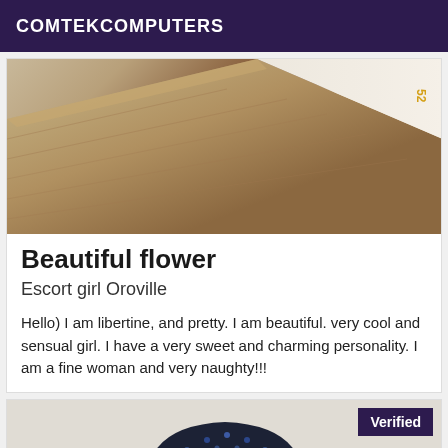COMTEKCOMPUTERS
[Figure (photo): Photo showing wooden floor and wall corner with a date stamp in orange]
Beautiful flower
Escort girl Oroville
Hello) I am libertine, and pretty. I am beautiful. very cool and sensual girl. I have a very sweet and charming personality. I am a fine woman and very naughty!!!
[Figure (photo): Person wearing a dark sequined fedora hat, with a verified badge in the top right corner]